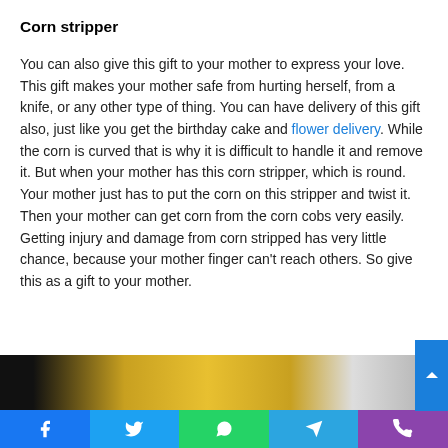Corn stripper
You can also give this gift to your mother to express your love. This gift makes your mother safe from hurting herself, from a knife, or any other type of thing. You can have delivery of this gift also, just like you get the birthday cake and flower delivery. While the corn is curved that is why it is difficult to handle it and remove it. But when your mother has this corn stripper, which is round. Your mother just has to put the corn on this stripper and twist it. Then your mother can get corn from the corn cobs very easily. Getting injury and damage from corn stripped has very little chance, because your mother finger can't reach others. So give this as a gift to your mother.
[Figure (photo): Photo of hands holding corn on the cob against a dark background]
Social share bar with Facebook, Twitter, WhatsApp, Telegram, Phone icons